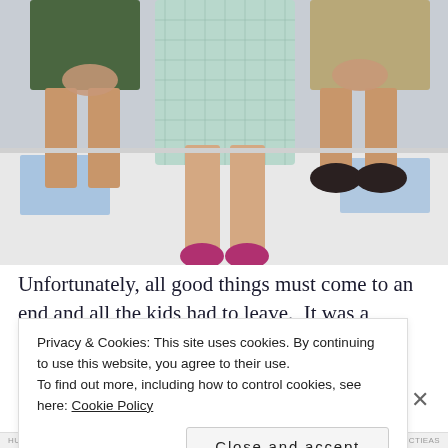[Figure (photo): Children sitting on a hospital or clinical bed/table. One child in the center wearing a plaid hospital gown with pink/magenta socks, flanked by other children in casual clothes (shorts). Adults' hands visible at edges.]
Unfortunately, all good things must come to an end and all the kids had to leave.  It was a bittersweet visit, all the
Privacy & Cookies: This site uses cookies. By continuing to use this website, you agree to their use.
To find out more, including how to control cookies, see here: Cookie Policy
Close and accept
HUPPOFCTIEAS